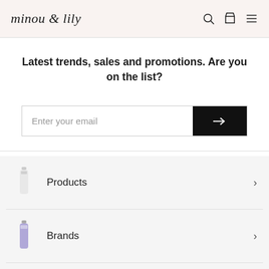minou & lily
Latest trends, sales and promotions. Are you on the list?
Enter your email
Products
Brands
Sale